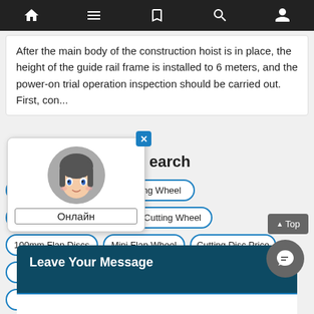Navigation bar with home, menu, bookmark, search, and user icons
After the main body of the construction hoist is in place, the height of the guide rail frame is installed to 6 meters, and the power-on trial operation inspection should be carried out. First, con...
[Figure (illustration): Chat widget popup with anime avatar, close button (X), and Онлайн status label]
earch
Cup Wheel
Cutting Wheel
Grinding Wheel
Grinding Cutting Wheel
100mm Flap Discs
Mini Flap Wheel
Cutting Disc Price
Flat Grinding Disc
350mm Cutting Disc
Aluminum Grinding Wheel
^Top
Leave Your Message